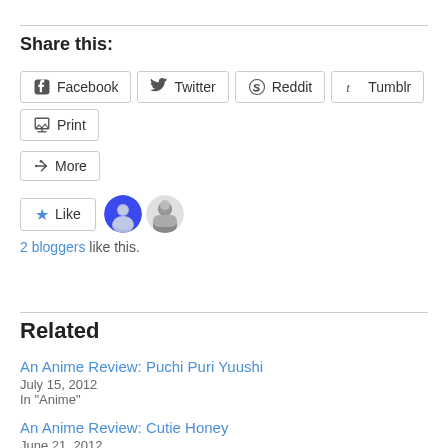Share this:
Facebook  Twitter  Reddit  Tumblr  Print  More
2 bloggers like this.
Related
An Anime Review: Puchi Puri Yuushi
July 15, 2012
In "Anime"
An Anime Review: Cutie Honey
June 21, 2012
In "Anime"